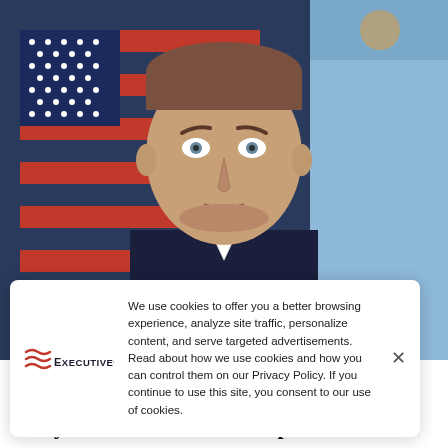[Figure (photo): Official portrait of Terry Halvorsen, a middle-aged man in a dark suit with white shirt, photographed in front of American flag and US Navy flag]
We use cookies to offer you a better browsing experience, analyze site traffic, personalize content, and serve targeted advertisements. Read about how we use cookies and how you can control them on our Privacy Policy. If you continue to use this site, you consent to our use of cookies.
Terry Halvorsen: DoD to Replace Common